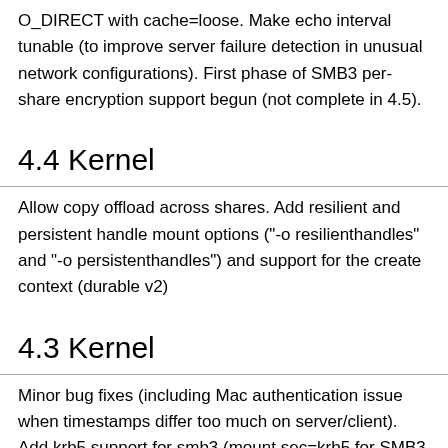O_DIRECT with cache=loose. Make echo interval tunable (to improve server failure detection in unusual network configurations). First phase of SMB3 per-share encryption support begun (not complete in 4.5).
4.4 Kernel
Allow copy offload across shares. Add resilient and persistent handle mount options ("-o resilienthandles" and "-o persistenthandles") and support for the create context (durable v2)
4.3 Kernel
Minor bug fixes (including Mac authentication issue when timestamps differ too much on server/client). Add krb5 support for smb3 (mount sec=krb5 for SMB3 e.g. vers=3.02, not just for cifs). Cifs.ko version updated to 2.08. Added ioctl to query detailed fs info on mounted share.